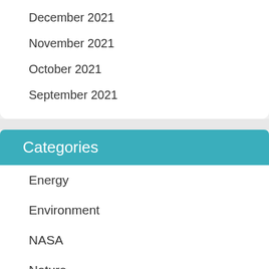December 2021
November 2021
October 2021
September 2021
Categories
Energy
Environment
NASA
Nature
News
Physics